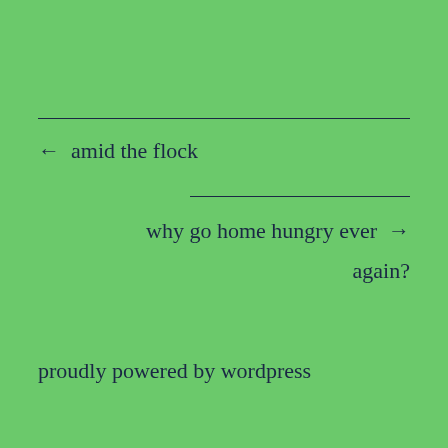← amid the flock
why go home hungry ever → again?
proudly powered by wordpress